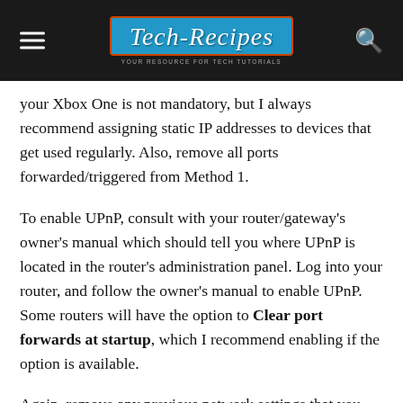Tech-Recipes
your Xbox One is not mandatory, but I always recommend assigning static IP addresses to devices that get used regularly. Also, remove all ports forwarded/triggered from Method 1.
To enable UPnP, consult with your router/gateway's owner's manual which should tell you where UPnP is located in the router's administration panel. Log into your router, and follow the owner's manual to enable UPnP. Some routers will have the option to Clear port forwards at startup, which I recommend enabling if the option is available.
Again, remove any previous network settings that you have tried on your Xbox One, and reset the network settings to factory default. Now, go to your Xbox One, and connect to your